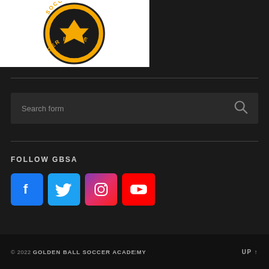[Figure (logo): Golden Ball Soccer Academy circular logo with gold and black colors, text reading SOCCER ACADEMY around the circle]
[Figure (other): Search form input field with placeholder text 'Search form' and a search (magnifying glass) icon on the right]
FOLLOW GBSA
[Figure (other): Social media icon buttons: Facebook (blue), Twitter (light blue), Instagram (gradient pink/purple), YouTube (red)]
© 2022 GOLDEN BALL SOCCER ACADEMY    UP ↑